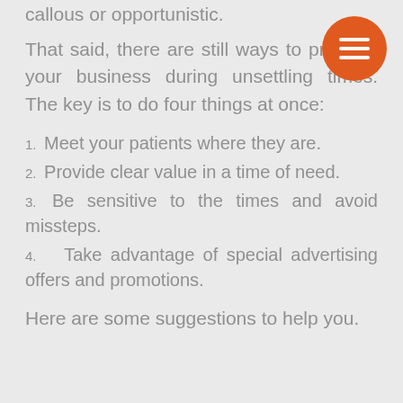callous or opportunistic.
That said, there are still ways to promote your business during unsettling times. The key is to do four things at once:
1. Meet your patients where they are.
2. Provide clear value in a time of need.
3. Be sensitive to the times and avoid missteps.
4. Take advantage of special advertising offers and promotions.
Here are some suggestions to help you.